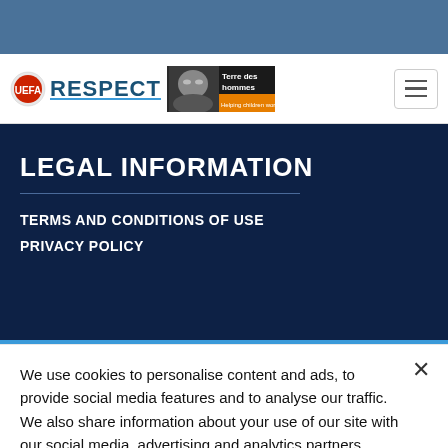[Figure (logo): UEFA RESPECT logo with circular UEFA emblem and blue underlined RESPECT text, alongside Terre des hommes banner showing a child's face with text 'Terre des hommes – Helping children worldwide.']
LEGAL INFORMATION
TERMS AND CONDITIONS OF USE
PRIVACY POLICY
We use cookies to personalise content and ads, to provide social media features and to analyse our traffic. We also share information about your use of our site with our social media, advertising and analytics partners.
Cookies Settings
Accept All Cookies